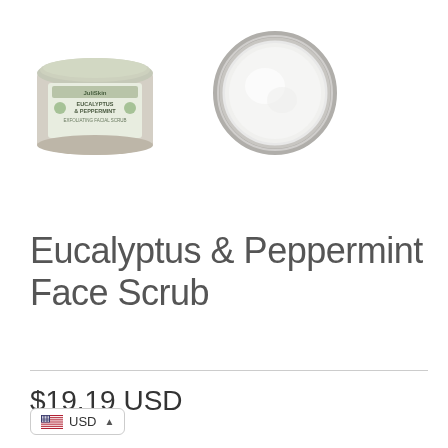[Figure (photo): Two product images side by side: a green-labeled jar of JuliSkin Eucalyptus & Peppermint Exfoliating Facial Scrub on the left, and the same product opened showing white scrub content from above on the right]
Eucalyptus & Peppermint Face Scrub
$19.19 USD
USD